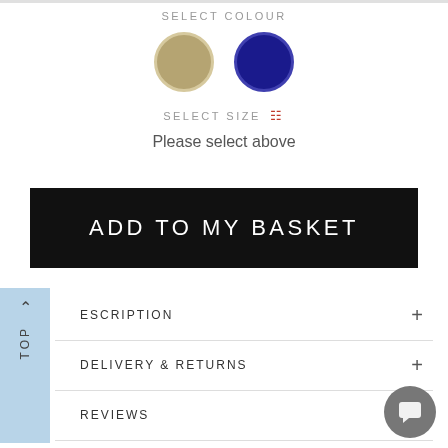SELECT COLOUR
[Figure (other): Two circular colour swatches: tan/gold on left, navy blue on right with border]
SELECT SIZE
Please select above
ADD TO MY BASKET
TOP
DESCRIPTION +
DELIVERY & RETURNS +
REVIEWS